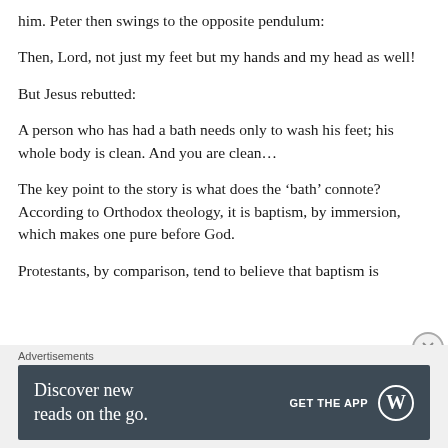him. Peter then swings to the opposite pendulum:
Then, Lord, not just my feet but my hands and my head as well!
But Jesus rebutted:
A person who has had a bath needs only to wash his feet; his whole body is clean. And you are clean…
The key point to the story is what does the 'bath' connote? According to Orthodox theology, it is baptism, by immersion, which makes one pure before God.
Protestants, by comparison, tend to believe that baptism is
Advertisements
[Figure (other): Advertisement banner: 'Discover new reads on the go. GET THE APP' with WordPress logo on dark background]